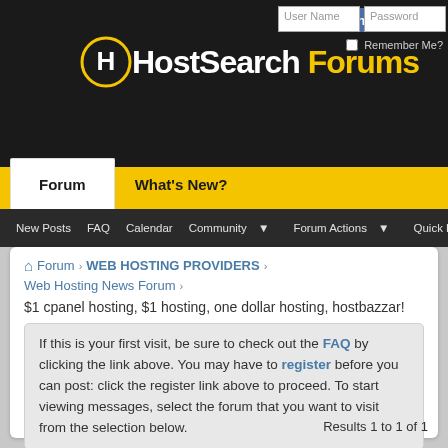HostSearch Forums — Forum navigation header with Facebook Connect, User Name, Password fields, Forum and What's New tabs, and secondary nav: New Posts, FAQ, Calendar, Community, Forum Actions, Quick Links
Forum › WEB HOSTING PROVIDERS › Web Hosting News Forum
$1 cpanel hosting, $1 hosting, one dollar hosting, hostbazzar!
If this is your first visit, be sure to check out the FAQ by clicking the link above. You may have to register before you can post: click the register link above to proceed. To start viewing messages, select the forum that you want to visit from the selection below.
Results 1 to 1 of 1